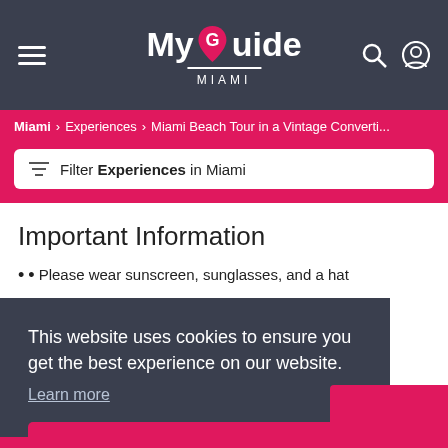MyGuide MIAMI
Miami > Experiences > Miami Beach Tour in a Vintage Converti...
Filter Experiences in Miami
Important Information
• Please wear sunscreen, sunglasses, and a hat
This website uses cookies to ensure you get the best experience on our website. Learn more Got it!